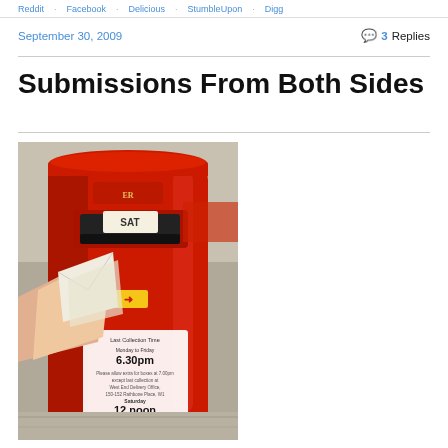Reddit · Facebook · Delicious · StumbleUpon · Digg
September 30, 2009 — 3 Replies
Submissions From Both Sides
[Figure (photo): A hand posting a letter into a red British Royal Mail pillar box. The postbox shows a collection time plate reading: Last Collection Time, Monday to Friday 6.30pm, Saturday 12 noon. The SAT indicator is visible at the top slot.]